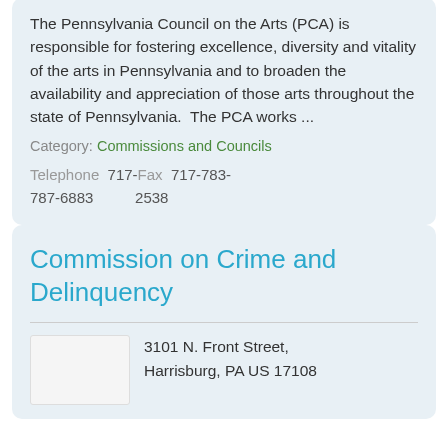The Pennsylvania Council on the Arts (PCA) is responsible for fostering excellence, diversity and vitality of the arts in Pennsylvania and to broaden the availability and appreciation of those arts throughout the state of Pennsylvania.  The PCA works ...
Category: Commissions and Councils
Telephone  717-Fax  717-783-787-6883  2538
Commission on Crime and Delinquency
3101 N. Front Street, Harrisburg, PA US 17108